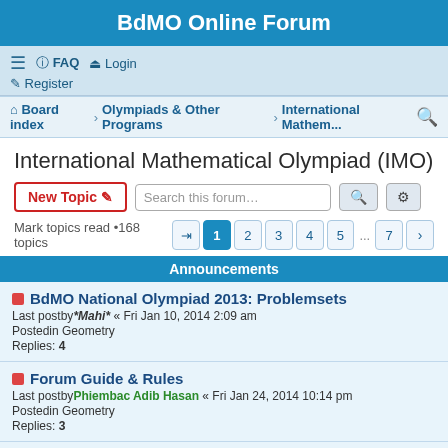BdMO Online Forum
FAQ Login Register
Board index · Olympiads & Other Programs · International Mathem...
International Mathematical Olympiad (IMO)
New Topic  Search this forum...  Mark topics read •168 topics  1 2 3 4 5 ... 7
Announcements
BdMO National Olympiad 2013: Problemsets
Last postby *Mahi* « Fri Jan 10, 2014 2:09 am
Postedin Geometry
Replies: 4
Forum Guide & Rules
Last postby Phiembac Adib Hasan « Fri Jan 24, 2014 10:14 pm
Postedin Geometry
Replies: 3
Welcome to the Official BdMO Online Forum
Last postby Moon « Tue Jan 18, 2011 7:43 pm
Postedin Geometry
Replies: 1